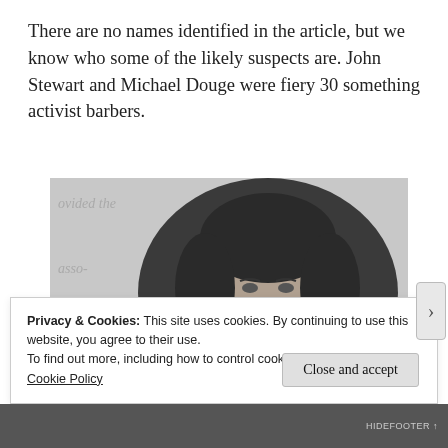There are no names identified in the article, but we know who some of the likely suspects are. John Stewart and Michael Douge were fiery 30 something activist barbers.
[Figure (photo): Black and white historical photograph of a man's face in an oval portrait frame, with partial text visible on the left side reading 'ovided the', 'asso-', 'ndy', 'lts']
Privacy & Cookies: This site uses cookies. By continuing to use this website, you agree to their use.
To find out more, including how to control cookies, see here:
Cookie Policy
Close and accept